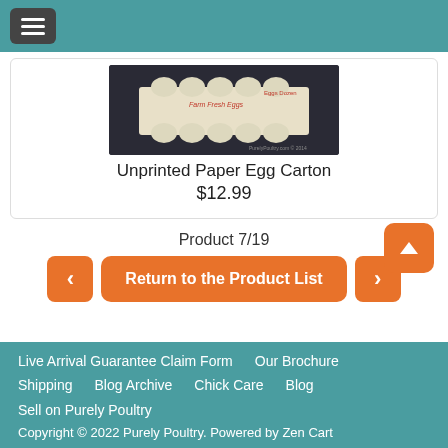[Figure (screenshot): Egg carton product image on dark background showing paper egg carton with 'Farm Fresh Eggs' text]
Unprinted Paper Egg Carton
$12.99
Product 7/19
< Return to the Product List >
Live Arrival Guarantee Claim Form  Our Brochure  Shipping  Blog Archive  Chick Care  Blog  Sell on Purely Poultry  Copyright © 2022 Purely Poultry. Powered by Zen Cart